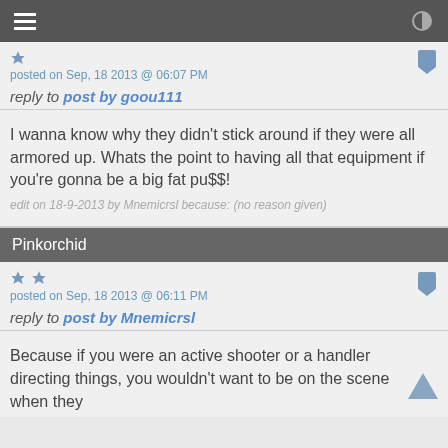posted on Sep, 18 2013 @ 06:07 PM
reply to post by goou111
I wanna know why they didn't stick around if they were all armored up. Whats the point to having all that equipment if you're gonna be a big fat pu$$!
edit on 18-9-2013 by Mnemicrsl because: (no reason given)
Pinkorchid
posted on Sep, 18 2013 @ 06:11 PM
reply to post by Mnemicrsl
Because if you were an active shooter or a handler directing things, you wouldn't want to be on the scene when they